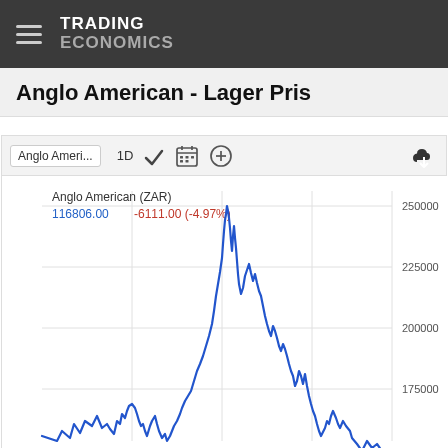TRADING ECONOMICS
Anglo American - Lager Pris
[Figure (continuous-plot): Line chart of Anglo American stock price in ZAR over time. Current value shown as 116806.00, change -6111.00 (-4.97%). Y-axis ranges from approximately 175000 to 250000. The chart shows a large peak near 250000 in the middle period, followed by a decline. Blue line on white background with gridlines.]